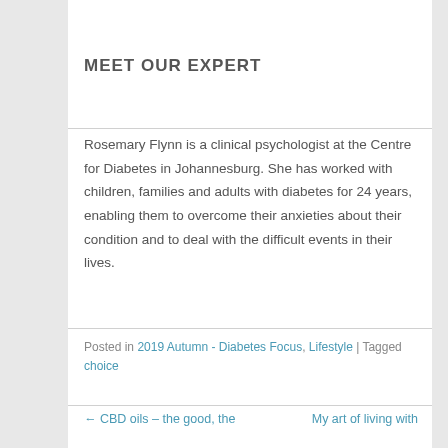[Figure (photo): Partial image placeholder at top of page, light gray background with inner rectangle]
MEET OUR EXPERT
Rosemary Flynn is a clinical psychologist at the Centre for Diabetes in Johannesburg. She has worked with children, families and adults with diabetes for 24 years, enabling them to overcome their anxieties about their condition and to deal with the difficult events in their lives.
Posted in 2019 Autumn - Diabetes Focus, Lifestyle | Tagged choice
← CBD oils – the good, the    My art of living with